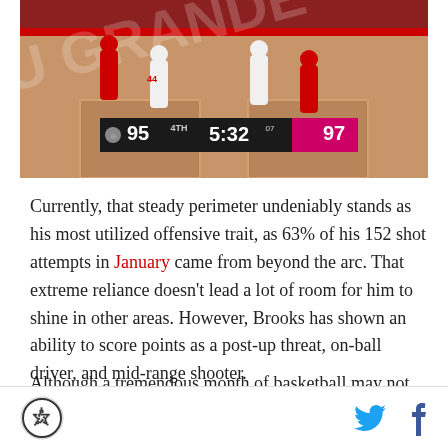[Figure (screenshot): Basketball game screenshot showing scoreboard: team 1 scores 95, 4th quarter, 5:32 remaining, 07 bonus, team 2 (Vipers) scores 97]
Currently, that steady perimeter undeniably stands as his most utilized offensive trait, as 63% of his 152 shot attempts in January came from beyond the arc. That extreme reliance doesn't lead a lot of room for him to shine in other areas. However, Brooks has shown an ability to score points as a post-up threat, on-ball driver, and mid-range shooter.
Although a tremendous month of basketball may not be enough to warrant him receiving a 10-day deal, it's